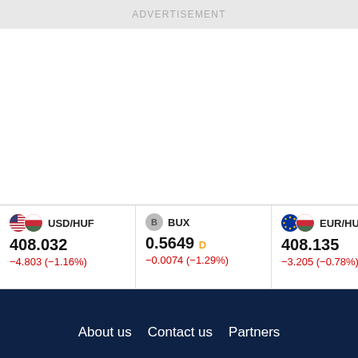ADVERTISEMENT
[Figure (infographic): Market ticker bar showing USD/HUF: 408.032, -4.803 (-1.16%); BUX: 0.5649 D, -0.0074 (-1.29%); EUR/HUF: 408.135, -3.205 (-0.78%); TradingView widget partially visible with 3.23]
About us   Contact us   Partners
This website uses cookies to ensure you get the best experience on our website.
Learn more
Decline
Allow cookies